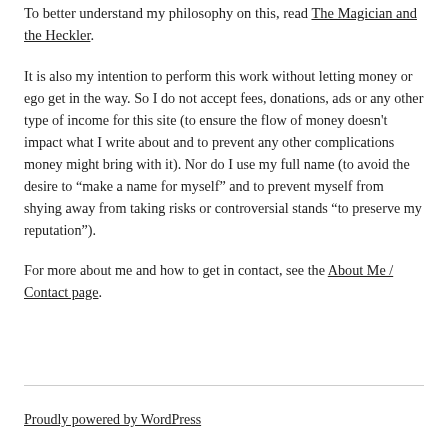To better understand my philosophy on this, read The Magician and the Heckler.
It is also my intention to perform this work without letting money or ego get in the way. So I do not accept fees, donations, ads or any other type of income for this site (to ensure the flow of money doesn't impact what I write about and to prevent any other complications money might bring with it). Nor do I use my full name (to avoid the desire to “make a name for myself” and to prevent myself from shying away from taking risks or controversial stands “to preserve my reputation”).
For more about me and how to get in contact, see the About Me / Contact page.
Proudly powered by WordPress